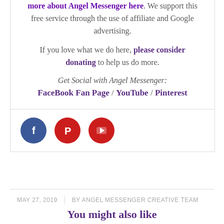more about Angel Messenger here. We support this free service through the use of affiliate and Google advertising.
If you love what we do here, please consider donating to help us do more.
Get Social with Angel Messenger:
FaceBook Fan Page / YouTube / Pinterest
[Figure (illustration): Three social media icon circles: Facebook (blue), Pinterest (red), YouTube (red)]
MAY 27, 2019 | BY ANGEL MESSENGER CREATIVE TEAM
You might also like